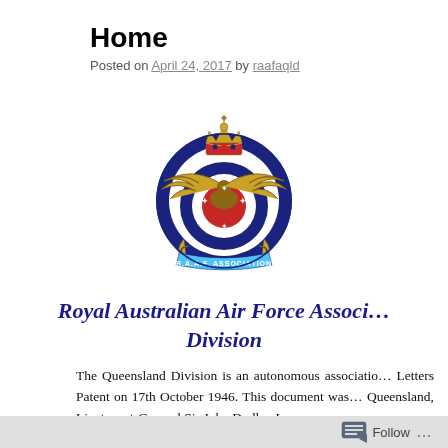Home
Posted on April 24, 2017 by raafaqld
[Figure (logo): Royal Australian Air Force Association emblem/crest with eagle wings, crown, roundel and banner reading R.A.A.F. ASSOCIATION]
Royal Australian Air Force Association Queensland Division
The Queensland Division is an autonomous association granted Letters Patent on 17th October 1946. This document was Queensland, Lieutenant-General Sir John Dudley Lavara
Follow